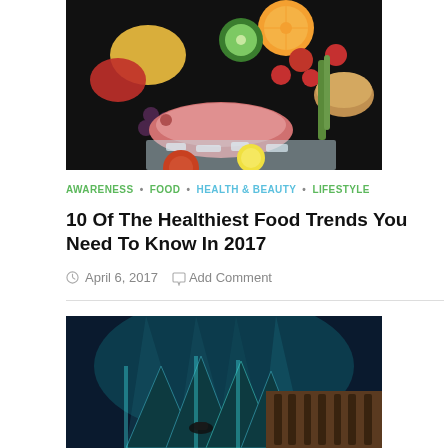[Figure (photo): Overhead shot of colorful fruits, vegetables, and fish on a dark background including orange, kiwi, tomatoes, peppers, fish, grapes, lemons, and bread]
AWARENESS • FOOD • HEALTH & BEAUTY • LIFESTYLE
10 Of The Healthiest Food Trends You Need To Know In 2017
April 6, 2017  Add Comment
[Figure (photo): Underwater photograph showing illuminated structure with diver and another smaller inset image, appearing to show an underwater scene]